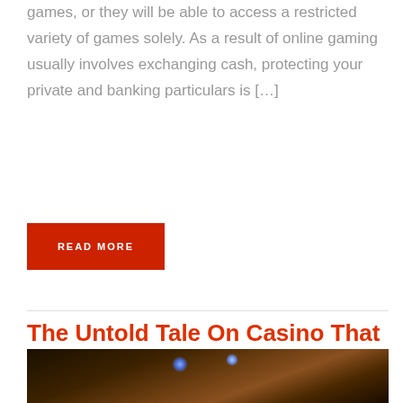games, or they will be able to access a restricted variety of games solely. As a result of online gaming usually involves exchanging cash, protecting your private and banking particulars is […]
READ MORE
The Untold Tale On Casino That You Need To Be
POSTED ON JUNE 22, 2021
[Figure (photo): Dark photo of people gathered around a casino gaming table, viewed from above, with blue/purple overhead lights visible]